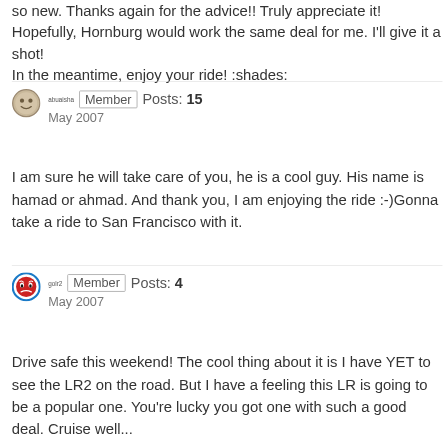so new. Thanks again for the advice!! Truly appreciate it! Hopefully, Hornburg would work the same deal for me. I'll give it a shot!
In the meantime, enjoy your ride! :shades:
abuaisha  Member  Posts: 15
May 2007
I am sure he will take care of you, he is a cool guy. His name is hamad or ahmad. And thank you, I am enjoying the ride :-)Gonna take a ride to San Francisco with it.
golr2  Member  Posts: 4
May 2007
Drive safe this weekend! The cool thing about it is I have YET to see the LR2 on the road. But I have a feeling this LR is going to be a popular one. You're lucky you got one with such a good deal. Cruise well...